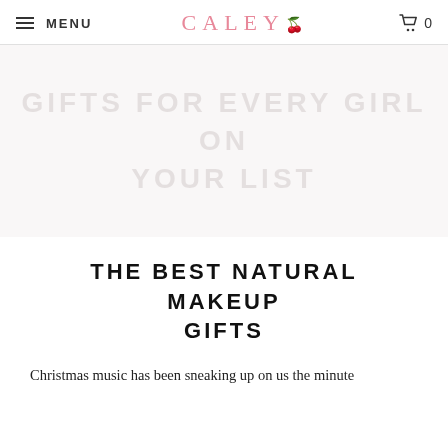MENU | CALEY 🌸 | 0
[Figure (other): Hero banner area with faint watermark text reading 'GIFTS FOR EVERY GIRL ON YOUR LIST' in light gray uppercase letters on a pale background]
THE BEST NATURAL MAKEUP GIFTS
Christmas music has been sneaking up on us the minute